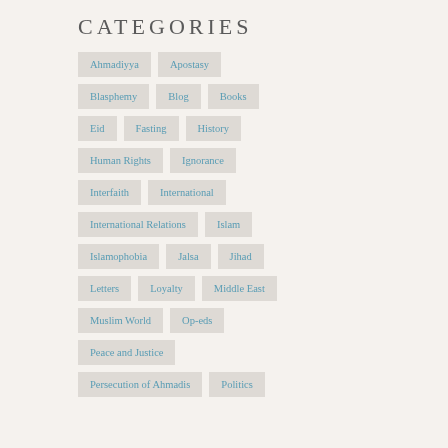CATEGORIES
Ahmadiyya
Apostasy
Blasphemy
Blog
Books
Eid
Fasting
History
Human Rights
Ignorance
Interfaith
International
International Relations
Islam
Islamophobia
Jalsa
Jihad
Letters
Loyalty
Middle East
Muslim World
Op-eds
Peace and Justice
Persecution of Ahmadis
Politics